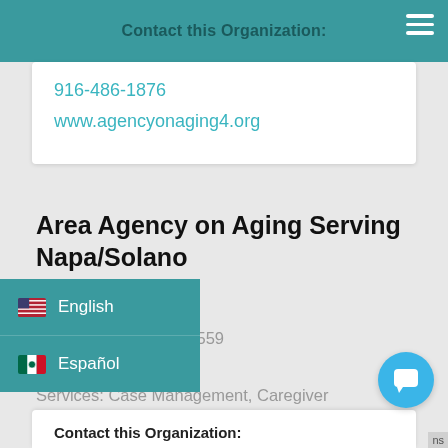Contact this Organization:
916-486-1876
www.agencyonaging4.org
Area Agency on Aging Serving Napa/Solano
275 Beck Avenue
Fairfield, California 94559
Member
Services: Case Management, Caregiver Senior Center, Elder Law, Adult Day Programs, Other
Contact this Organization: